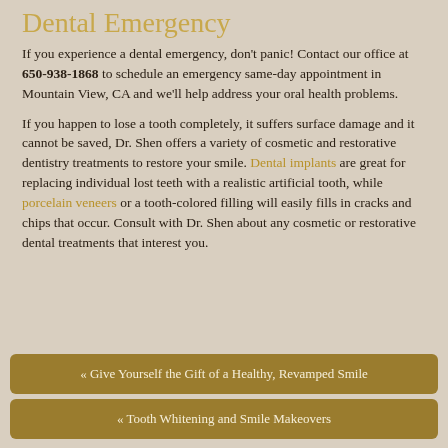Dental Emergency
If you experience a dental emergency, don't panic! Contact our office at 650-938-1868 to schedule an emergency same-day appointment in Mountain View, CA and we'll help address your oral health problems.
If you happen to lose a tooth completely, it suffers surface damage and it cannot be saved, Dr. Shen offers a variety of cosmetic and restorative dentistry treatments to restore your smile. Dental implants are great for replacing individual lost teeth with a realistic artificial tooth, while porcelain veneers or a tooth-colored filling will easily fills in cracks and chips that occur. Consult with Dr. Shen about any cosmetic or restorative dental treatments that interest you.
« Give Yourself the Gift of a Healthy, Revamped Smile
« Tooth Whitening and Smile Makeovers